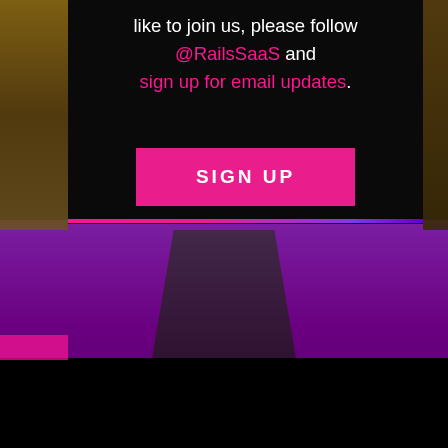like to join us, please follow @RailsSaaS and sign up for email updates.
[Figure (illustration): A pink 'SIGN UP' button displayed on a dark black card overlay, with a purple-lit venue floor visible below, bordered by a pink-to-purple gradient line at the bottom of the card.]